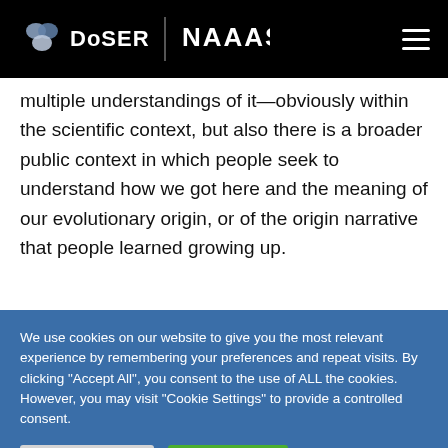DoSER | AAAS
multiple understandings of it—obviously within the scientific context, but also there is a broader public context in which people seek to understand how we got here and the meaning of our evolutionary origin, or of the origin narrative that people learned growing up.
We use cookies on our website to give you the most relevant experience by remembering your preferences and repeat visits. By clicking "Accept All", you consent to the use of ALL the cookies. However, you may visit "Cookie Settings" to provide a controlled consent.
Cookie Settings | Accept All